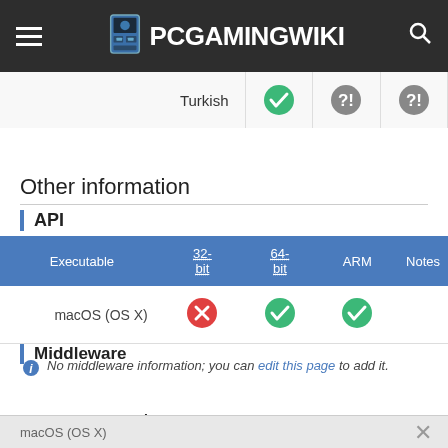PCGamingWiki
|  | Turkish |  |  |  |
| --- | --- | --- | --- | --- |
| Turkish | checkmark | ?! | ?! |  |
Other information
API
| Executable | 32-bit | 64-bit | ARM | Notes |
| --- | --- | --- | --- | --- |
| macOS (OS X) | cross | checkmark | checkmark |  |
Middleware
No middleware information; you can edit this page to add it.
System requirements